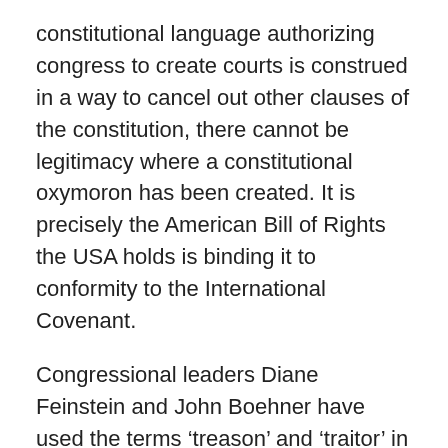constitutional language authorizing congress to create courts is construed in a way to cancel out other clauses of the constitution, there cannot be legitimacy where a constitutional oxymoron has been created. It is precisely the American Bill of Rights the USA holds is binding it to conformity to the International Covenant.
Congressional leaders Diane Feinstein and John Boehner have used the terms ‘treason’ and ‘traitor’ in relation to Snowden, poisoning the jury pool on a national basis, HOWEVER; any actual criminal acts defined as treason in the American sense under any authentic American ‘de jure’ rule of law are those persons putting forth a pretense the secret court authorizing civil liberties violations are legitimate. This points first to the Congress authoring patently unconstitutional legislation, then second, to any president signing and implementing such unlawful